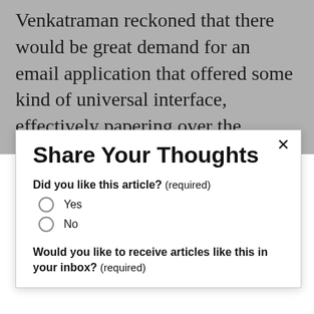Venkatraman reckoned that there would be great demand for an email application that offered some kind of universal interface, effectively papering over the underlying plumbing of the 25 or do existing packages like Quickmail, cc:Mail, and Eudora. Users would find such an application even more
Share Your Thoughts
Did you like this article? (required)
Yes
No
Would you like to receive articles like this in your inbox? (required)